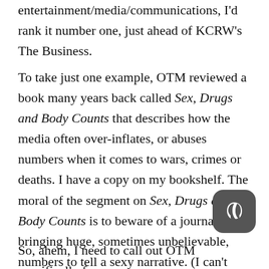entertainment/media/communications, I'd rank it number one, just ahead of KCRW's The Business.
To take just one example, OTM reviewed a book many years back called Sex, Drugs and Body Counts that describes how the media often over-inflates, or abuses numbers when it comes to wars, crimes or deaths. I have a copy on my bookshelf. The moral of the segment on Sex, Drugs and Body Counts is to beware of a journalist bringing huge, sometimes unbelievable, numbers to tell a sexy narrative. (I can't find a link to the original segment it was so long ago.)
So, ahem, I need to call out OTM specifically for